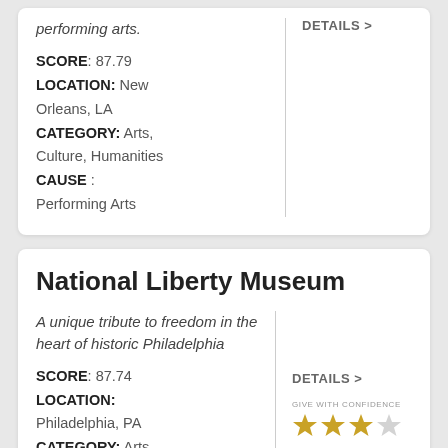performing arts. SCORE: 87.79 LOCATION: New Orleans, LA CATEGORY: Arts, Culture, Humanities CAUSE: Performing Arts
DETAILS >
National Liberty Museum
A unique tribute to freedom in the heart of historic Philadelphia
SCORE: 87.74 LOCATION: Philadelphia, PA CATEGORY: Arts, Culture, Humanities CAUSE: Museums
DETAILS >
[Figure (other): Give With Confidence 3 out of 4 stars rating]